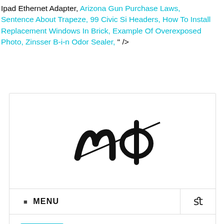Ipad Ethernet Adapter, Arizona Gun Purchase Laws, Sentence About Trapeze, 99 Civic Si Headers, How To Install Replacement Windows In Brick, Example Of Overexposed Photo, Zinsser B-i-n Odor Sealer, " />
[Figure (logo): Logo of a website/publication, stylized text reading 'mo' with a phi symbol replacing the 'o', in black on white]
MENU
FOTOSETY
dor delinquent